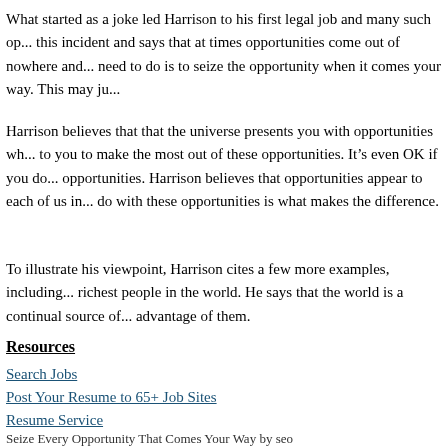What started as a joke led Harrison to his first legal job and many such op... this incident and says that at times opportunities come out of nowhere and... need to do is to seize the opportunity when it comes your way. This may ju...
Harrison believes that that the universe presents you with opportunities wh... to you to make the most out of these opportunities. It's even OK if you do... opportunities. Harrison believes that opportunities appear to each of us in... do with these opportunities is what makes the difference.
To illustrate his viewpoint, Harrison cites a few more examples, including... richest people in the world. He says that the world is a continual source of... advantage of them.
Resources
Search Jobs
Post Your Resume to 65+ Job Sites
Resume Service
Seize Every Opportunity That Comes Your Way by seo